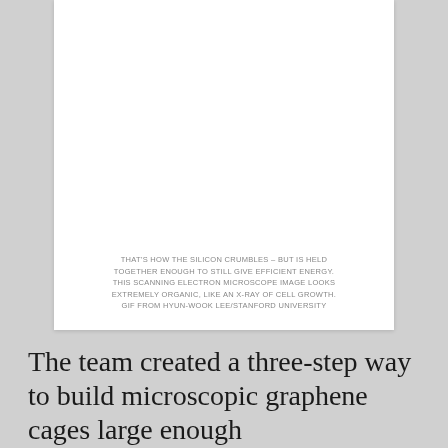[Figure (photo): Scanning electron microscope image of crumbled silicon held together, appearing organic like an x-ray of cell growth. White area shown (image content appears blank/white in this view).]
THAT'S HOW THE SILICON CRUMBLES – BUT IS HELD TOGETHER ENOUGH TO STILL GIVE EFFICIENT ENERGY. THIS SCANNING ELECTRON MICROSCOPE IMAGE LOOKS EXTREMELY ORGANIC, LIKE AN X-RAY OF CELL GROWTH. GIF FROM HYUN-WOOK LEE/STANFORD UNIVERSITY
The team created a three-step way to build microscopic graphene cages large enough to hold silicon particles and let